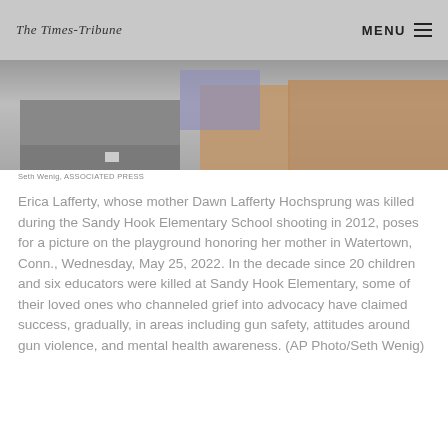The Times-Tribune  MENU
[Figure (photo): Partial view of a building exterior, appears to be a school or community building with orange/tan colored walls and purple/blue architectural elements, showing rows of seats or bleachers at the bottom.]
Seth Wenig, ASSOCIATED PRESS
Erica Lafferty, whose mother Dawn Lafferty Hochsprung was killed during the Sandy Hook Elementary School shooting in 2012, poses for a picture on the playground honoring her mother in Watertown, Conn., Wednesday, May 25, 2022. In the decade since 20 children and six educators were killed at Sandy Hook Elementary, some of their loved ones who channeled grief into advocacy have claimed success, gradually, in areas including gun safety, attitudes around gun violence, and mental health awareness. (AP Photo/Seth Wenig)